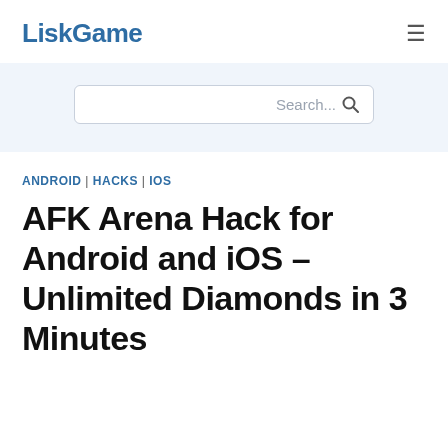LiskGame
Search...
ANDROID | HACKS | IOS
AFK Arena Hack for Android and iOS – Unlimited Diamonds in 3 Minutes